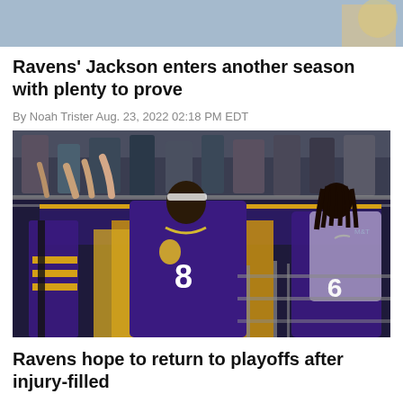[Figure (photo): Partial top image cropped at top of page, showing what appears to be a football player or mascot photo]
Ravens' Jackson enters another season with plenty to prove
By Noah Trister Aug. 23, 2022 02:18 PM EDT
[Figure (photo): Lamar Jackson in Ravens purple #8 jersey interacting with fans over a barrier/railing after a game, with teammate #6 visible to the right]
Ravens hope to return to playoffs after injury-filled